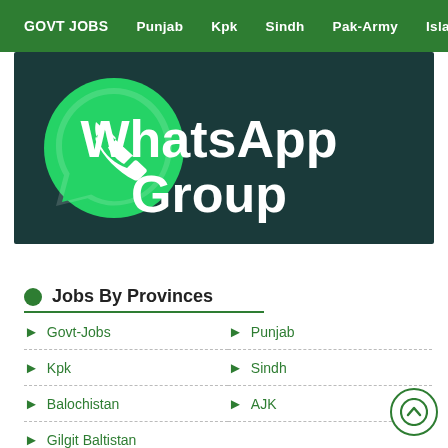GOVT JOBS | Punjab | Kpk | Sindh | Pak-Army | Islam
[Figure (illustration): WhatsApp Group promotional banner with green background, WhatsApp logo and text 'WhatsApp Group']
Jobs By Provinces
Govt-Jobs
Punjab
Kpk
Sindh
Balochistan
AJK
Gilgit Baltistan